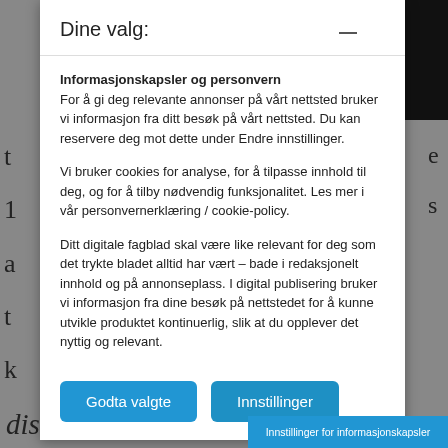Dine valg:
Informasjonskapsler og personvern
For å gi deg relevante annonser på vårt nettsted bruker vi informasjon fra ditt besøk på vårt nettsted. Du kan reservere deg mot dette under Endre innstillinger.
Vi bruker cookies for analyse, for å tilpasse innhold til deg, og for å tilby nødvendig funksjonalitet. Les mer i vår personvernerklæring / cookie-policy.
Ditt digitale fagblad skal være like relevant for deg som det trykte bladet alltid har vært – bade i redaksjonelt innhold og på annonseplass. I digital publisering bruker vi informasjon fra dine besøk på nettstedet for å kunne utvikle produktet kontinuerlig, slik at du opplever det nyttig og relevant.
Godta valgte
Innstillinger
Innstillinger for informasjonskapsler
distance of 500 meters